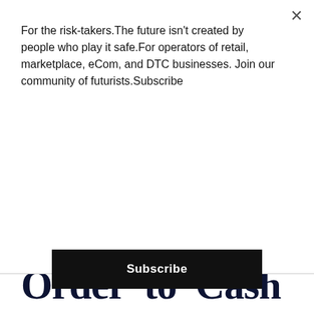For the risk-takers.The future isn't created by people who play it safe.For operators of retail, marketplace, eCom, and DTC businesses. Join our community of futurists.Subscribe
Subscribe
or shield the business from fraud.
Order to Cash
Most orders in digital commerce ship when a credit card authorization is secured. This authorization gives the merchant a reasonable amount of confidence that the